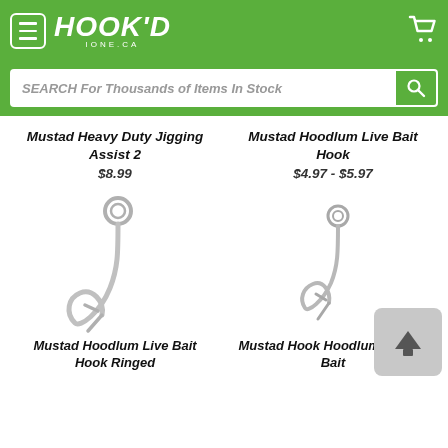[Figure (logo): Hook'd Ione CA logo in green header with hamburger menu and cart icon]
SEARCH For Thousands of Items In Stock
Mustad Heavy Duty Jigging Assist 2
$8.99
Mustad Hoodlum Live Bait Hook
$4.97 - $5.97
[Figure (photo): Mustad Hoodlum Live Bait Hook Ringed - large silver fishing hook with eye ring]
[Figure (photo): Mustad Hook Hoodlum 5x Live Bait - smaller silver fishing hook with eye ring]
Mustad Hoodlum Live Bait Hook Ringed
Mustad Hook Hoodlum 5x Live Bait